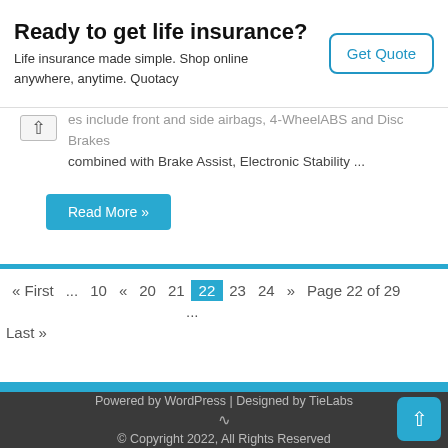[Figure (screenshot): Advertisement banner for Quotacy life insurance with 'Get Quote' button]
es include front and side airbags, 4-WheelABS and Disc Brakes combined with Brake Assist, Electronic Stability ...
Read More »
« First ... 10 « 20 21 22 23 24 » Page 22 of 29 ... Last »